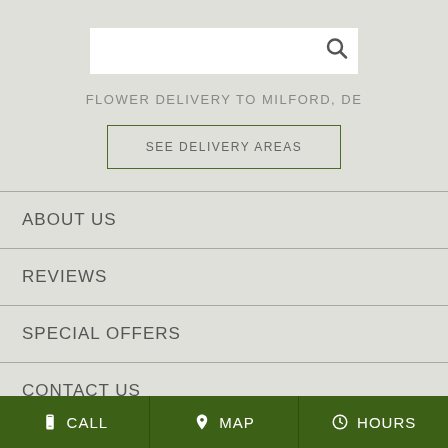[Figure (screenshot): Search input box with magnifying glass icon]
FLOWER DELIVERY TO MILFORD, DE
SEE DELIVERY AREAS
ABOUT US
REVIEWS
SPECIAL OFFERS
CONTACT US
SITE MAP
CALL   MAP   HOURS